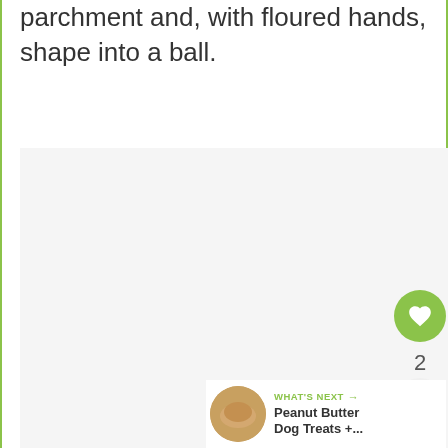parchment and, with floured hands, shape into a ball.
[Figure (photo): Large light gray placeholder image area for a recipe step photo]
2
WHAT'S NEXT → Peanut Butter Dog Treats +...